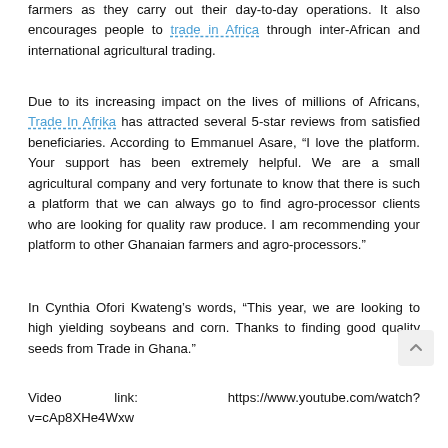farmers as they carry out their day-to-day operations. It also encourages people to trade in Africa through inter-African and international agricultural trading.
Due to its increasing impact on the lives of millions of Africans, Trade In Afrika has attracted several 5-star reviews from satisfied beneficiaries. According to Emmanuel Asare, “I love the platform. Your support has been extremely helpful. We are a small agricultural company and very fortunate to know that there is such a platform that we can always go to find agro-processor clients who are looking for quality raw produce. I am recommending your platform to other Ghanaian farmers and agro-processors.”
In Cynthia Ofori Kwateng’s words, “This year, we are looking to high yielding soybeans and corn. Thanks to finding good quality seeds from Trade in Ghana.”
Video link: https://www.youtube.com/watch?v=cAp8XHe4Wxw